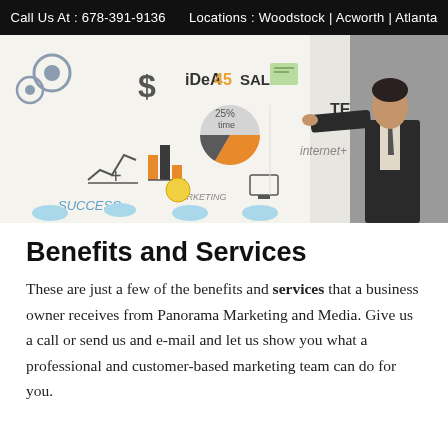Call Us At : 678-391-9136     Locations : Woodstock | Acworth | Atlanta
[Figure (illustration): A businessman in a dark suit writing or drawing on a whiteboard covered with business-related doodles and icons including charts, gears, pie charts, dollar signs, clouds, computers, light bulbs, and words like 'IDEA', 'SALE', 'TEAM', 'SUCCESS', 'MARKETING', 'internet', 'CLOUD'.]
Benefits and Services
These are just a few of the benefits and services that a business owner receives from Panorama Marketing and Media. Give us a call or send us and e-mail and let us show you what a professional and customer-based marketing team can do for you.